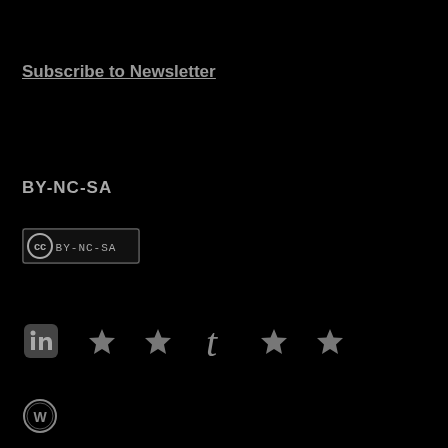Subscribe to Newsletter
BY-NC-SA
[Figure (logo): Creative Commons BY-NC-SA license badge in small pixel-art style showing (cc) BY-NC-SA text]
[Figure (infographic): Row of social media icons: LinkedIn square icon, star icons, Tumblr letter t icon, more star icons]
[Figure (logo): WordPress circular logo icon]